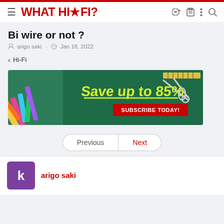WHAT HI-FI?
Bi wire or not ?
arigo saki · Jan 18, 2022
< Hi-Fi
[Figure (photo): Advertisement banner: green background with school supplies (pencils, markers, scissors, ruler). Yellow handwritten text reads 'Save up to 85%' with a red button 'SUBSCRIBE TODAY!']
Previous | Next
arigo saki